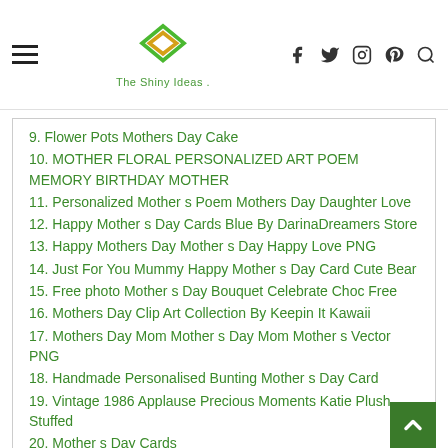The Shiny Ideas
9. Flower Pots Mothers Day Cake
10. MOTHER FLORAL PERSONALIZED ART POEM MEMORY BIRTHDAY MOTHER
11. Personalized Mother s Poem Mothers Day Daughter Love
12. Happy Mother s Day Cards Blue By DarinaDreamers Store
13. Happy Mothers Day Mother s Day Happy Love PNG
14. Just For You Mummy Happy Mother s Day Card Cute Bear
15. Free photo Mother s Day Bouquet Celebrate Choc Free
16. Mothers Day Clip Art Collection By Keepin It Kawaii
17. Mothers Day Mom Mother s Day Mom Mother s Vector PNG
18. Handmade Personalised Bunting Mother s Day Card
19. Vintage 1986 Applause Precious Moments Katie Plush Stuffed
20. Mother s Day Cards
21. PERSONALIZED MOM POEM GIFT FOR MOTHER S DAY